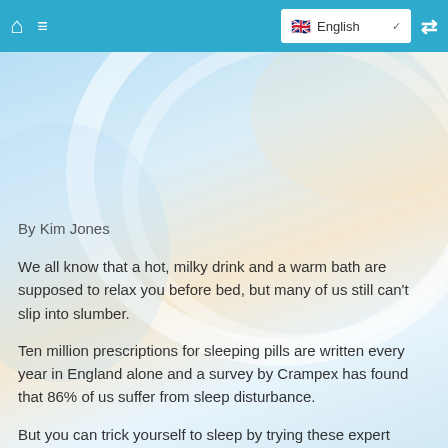Home  ≡  English
By Kim Jones
We all know that a hot, milky drink and a warm bath are supposed to relax you before bed, but many of us still can't slip into slumber.
Ten million prescriptions for sleeping pills are written every year in England alone and a survey by Crampex has found that 86% of us suffer from sleep disturbance.
But you can trick yourself to sleep by trying these expert natural tips... Or you can look at buying one of these gadgets or apps.